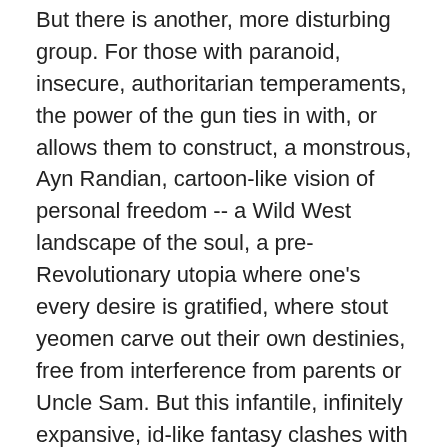But there is another, more disturbing group. For those with paranoid, insecure, authoritarian temperaments, the power of the gun ties in with, or allows them to construct, a monstrous, Ayn Randian, cartoon-like vision of personal freedom -- a Wild West landscape of the soul, a pre-Revolutionary utopia where one's every desire is gratified, where stout yeomen carve out their own destinies, free from interference from parents or Uncle Sam. But this infantile, infinitely expansive, id-like fantasy clashes with the fact that the dreamer lives in society, a society of laws and government and parents. And so these gun-worshipping dreamers build up an equally monstrous vision of coercive governmental power -- an Evil Empire. And every now and then, one of those dreamers acts.